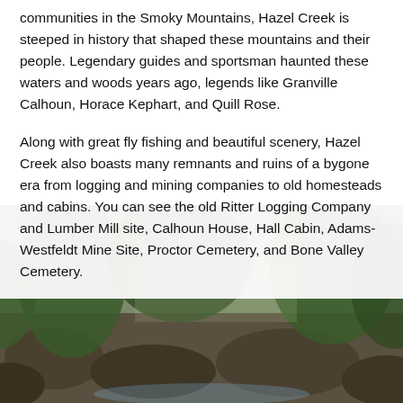communities in the Smoky Mountains, Hazel Creek is steeped in history that shaped these mountains and their people. Legendary guides and sportsman haunted these waters and woods years ago, legends like Granville Calhoun, Horace Kephart, and Quill Rose.
Along with great fly fishing and beautiful scenery, Hazel Creek also boasts many remnants and ruins of a bygone era from logging and mining companies to old homesteads and cabins. You can see the old Ritter Logging Company and Lumber Mill site, Calhoun House, Hall Cabin, Adams-Westfeldt Mine Site, Proctor Cemetery, and Bone Valley Cemetery.
[Figure (photo): Outdoor nature/forest scene showing rocky terrain and trees in the Smoky Mountains, visible in the lower half of the page behind a semi-transparent white text overlay.]